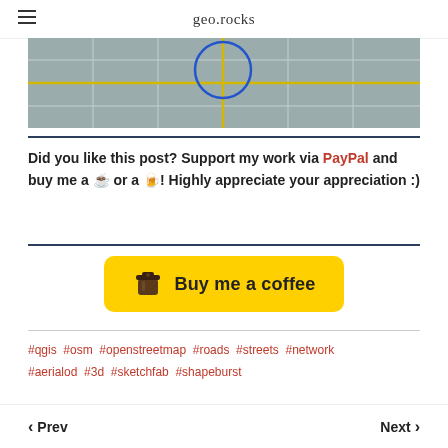geo.rocks
[Figure (map): Aerial/satellite-style map view showing a street grid with gray tiles and a blue circle overlay on roads]
Did you like this post? Support my work via PayPal and buy me a ☕ or a 🍺! Highly appreciate your appreciation :)
[Figure (other): Buy me a coffee yellow button with coffee cup icon]
#qgis #osm #openstreetmap #roads #streets #network #aerialod #3d #sketchfab #shapeburst
‹ Prev    Next ›